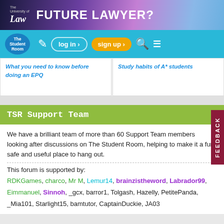[Figure (other): University of Law banner advertisement saying FUTURE LAWYER?]
[Figure (screenshot): The Student Room navigation bar with log in, sign up, search and menu icons]
What you need to know before doing an EPQ
Study habits of A* students
TSR Support Team
We have a brilliant team of more than 60 Support Team members looking after discussions on The Student Room, helping to make it a fun, safe and useful place to hang out.
This forum is supported by:
RDKGames, charco, Mr M, Lemur14, brainzistheword, Labrador99, Eimmanuel, Sinnoh, _gcx, barror1, Tolgash, Hazelly, PetitePanda, _Mia101, Starlight15, bamtutor, CaptainDuckie, JA03